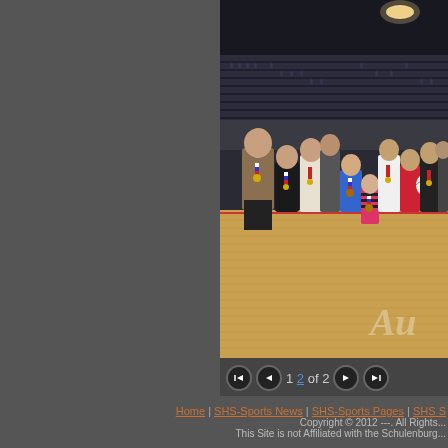[Figure (photo): Group photo of volleyball team and coaches/family members with medals on a basketball/volleyball court inside an arena. People are standing on a hardwood court floor with stadium seating visible in the background. A watermark 'Au' is partially visible in the lower right.]
1 2 of 2
Home | SHS-Sports News | SHS-Sports Pages | SHS S... Copyright © 2012 ---. All Rights... This Site is not Affiliated with the Schulenburg...